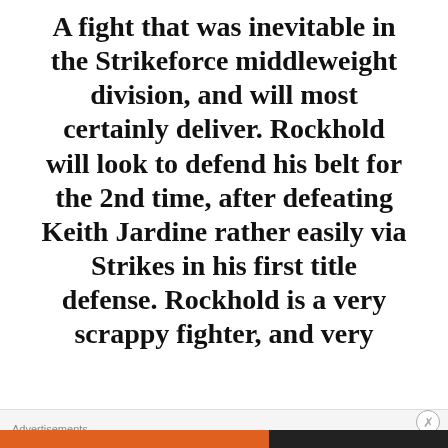A fight that was inevitable in the Strikeforce middleweight division, and will most certainly deliver. Rockhold will look to defend his belt for the 2nd time, after defeating Keith Jardine rather easily via Strikes in his first title defense. Rockhold is a very scrappy fighter, and very
Advertisements